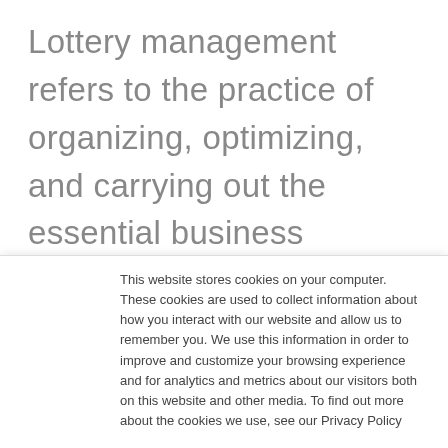Lottery management refers to the practice of organizing, optimizing, and carrying out the essential business functions of a lottery operation.
While managing your lottery business may seem like an obvious requirement for success, it's often easier said than done. As
This website stores cookies on your computer. These cookies are used to collect information about how you interact with our website and allow us to remember you. We use this information in order to improve and customize your browsing experience and for analytics and metrics about our visitors both on this website and other media. To find out more about the cookies we use, see our Privacy Policy